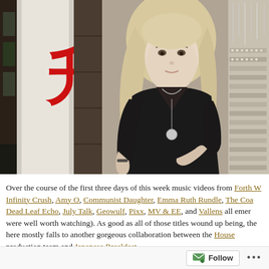[Figure (photo): A young woman with long light blonde/pink hair wearing a black dress and long pendant necklace, standing in front of a store with a large red Chinese character on a white marble column. To the right is a jewelry display case with necklaces and rings.]
Over the course of the first three days of this week music videos from Forth W[orld], Infinity Crush, Amy O, Communist Daughter, Emma Ruth Rundle, The Coa[st], Dead Leaf Echo, July Talk, Geowulf, Pixx, MV & EE, and Vallens all emer[ged] (and were well worth watching). As good as all of those titles wound up being, the [credit] here mostly falls to another gorgeous collaboration between the House [of] production team and Japanese Breakfast.